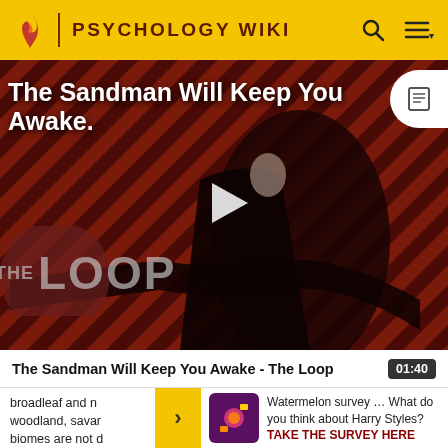PSYCHOLOGY WIKI
[Figure (screenshot): Video thumbnail showing a dark-robed figure against a diagonal striped red/dark background with 'THE LOOP' text overlay, play button in center, and video title 'The Sandman Will Keep You Awake...' at top left]
The Sandman Will Keep You Awake - The Loop  01:40
broadleaf and n woodland, savar biomes are not d
Watermelon survey … What do you think about Harry Styles? TAKE THE SURVEY HERE